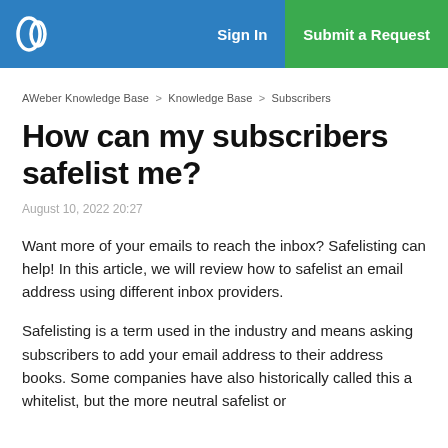AWeber Knowledge Base > Knowledge Base > Subscribers
How can my subscribers safelist me?
August 10, 2022 20:27
Want more of your emails to reach the inbox? Safelisting can help! In this article, we will review how to safelist an email address using different inbox providers.
Safelisting is a term used in the industry and means asking subscribers to add your email address to their address books. Some companies have also historically called this a whitelist, but the more neutral safelist or